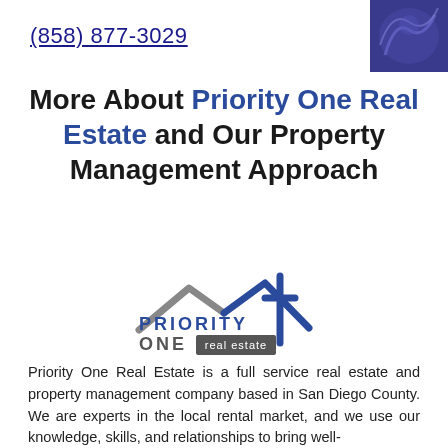(858) 877-3029
More About Priority One Real Estate and Our Property Management Approach
[Figure (logo): Priority One Real Estate logo with house roofline graphic in blue and gray, text reads PRIORITY ONE real estate]
Priority One Real Estate is a full service real estate and property management company based in San Diego County. We are experts in the local rental market, and we use our knowledge, skills, and relationships to bring well-